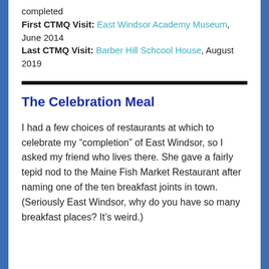completed
First CTMQ Visit: East Windsor Academy Museum, June 2014
Last CTMQ Visit: Barber Hill Schcool House, August 2019
The Celebration Meal
I had a few choices of restaurants at which to celebrate my “completion” of East Windsor, so I asked my friend who lives there. She gave a fairly tepid nod to the Maine Fish Market Restaurant after naming one of the ten breakfast joints in town. (Seriously East Windsor, why do you have so many breakfast places? It’s weird.)